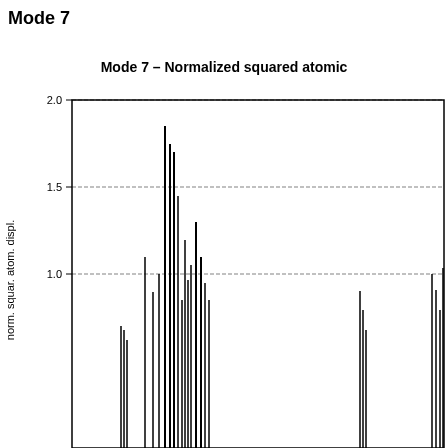Mode 7
[Figure (continuous-plot): Bar/spike chart showing normalized squared atomic displacements for Mode 7. Y-axis ranges from below 0 to 2.0. There are prominent tall spikes around x=100-130 reaching up to ~1.85, smaller spikes near x=60-80 reaching ~0.7, spikes around x=350-360 reaching ~0.9, and spikes at the far right edge reaching ~1.0+. Most values are near 0.]